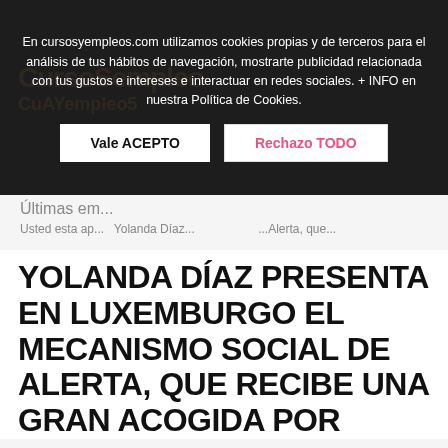[Figure (screenshot): Cookie consent overlay banner on cursosyempleos.com with dark background, accept and reject buttons]
En cursosyempleos.com utilizamos cookies propias y de terceros para el análisis de tus hábitos de navegación, mostrarte publicidad relacionada con tus gustos e intereses e interactuar en redes sociales. + INFO en nuestra Política de Cookies.
Vale ACEPTO
Rechazo TODO
Últimas em...
Usted esta ap... Yolanda Díaz... ...Alerta, que...
YOLANDA DÍAZ PRESENTA EN LUXEMBURGO EL MECANISMO SOCIAL DE ALERTA, QUE RECIBE UNA GRAN ACOGIDA POR